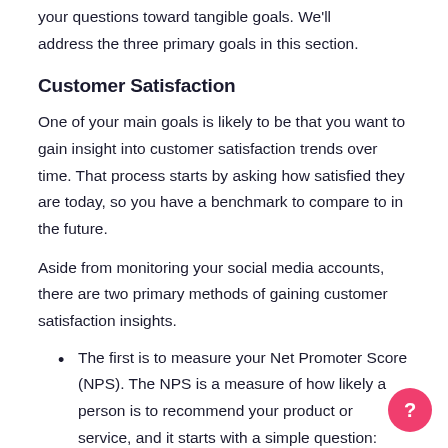your questions toward tangible goals. We'll address the three primary goals in this section.
Customer Satisfaction
One of your main goals is likely to be that you want to gain insight into customer satisfaction trends over time. That process starts by asking how satisfied they are today, so you have a benchmark to compare to in the future.
Aside from monitoring your social media accounts, there are two primary methods of gaining customer satisfaction insights.
The first is to measure your Net Promoter Score (NPS). The NPS is a measure of how likely a person is to recommend your product or service, and it starts with a simple question: